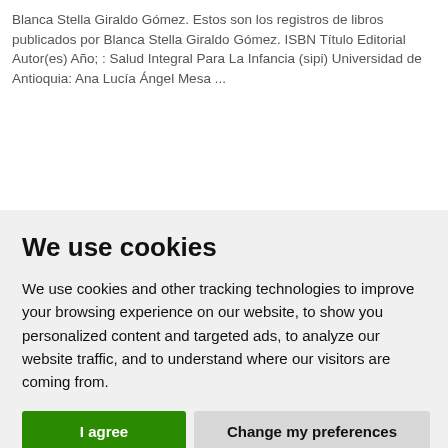Blanca Stella Giraldo Gómez. Estos son los registros de libros publicados por Blanca Stella Giraldo Gómez. ISBN Título Editorial Autor(es) Año; : Salud Integral Para La Infancia (sipi) Universidad de Antioquia: Ana Lucía Ángel Mesa ...
We use cookies
We use cookies and other tracking technologies to improve your browsing experience on our website, to show you personalized content and targeted ads, to analyze our website traffic, and to understand where our visitors are coming from.